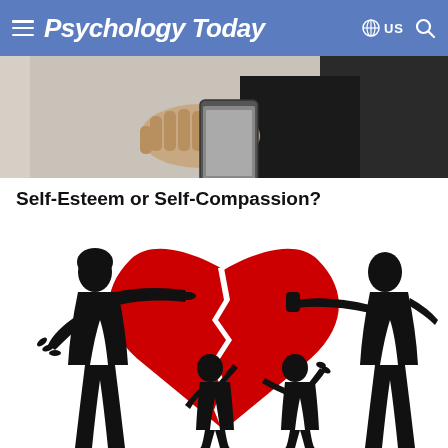Psychology Today
[Figure (photo): Person holding a smartphone, partial upper body view, dark clothing, photo strip at top of page under the header]
Self-Esteem or Self-Compassion?
[Figure (illustration): Silhouette illustration of a family conflict: adult female figure pointing at adult male figure, two child silhouettes in the middle, with a large red broken heart in the background]